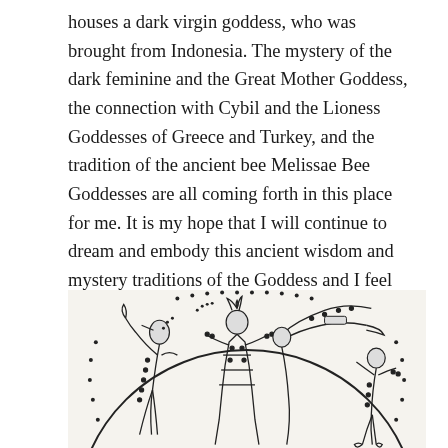houses a dark virgin goddess, who was brought from Indonesia. The mystery of the dark feminine and the Great Mother Goddess, the connection with Cybil and the Lioness Goddesses of Greece and Turkey, and the tradition of the ancient bee Melissae Bee Goddesses are all coming forth in this place for me. It is my hope that I will continue to dream and embody this ancient wisdom and mystery traditions of the Goddess and I feel blessed that she, in her many forms, has chosen me as worthy.
[Figure (illustration): A circular ancient seal or medallion illustration showing multiple stylized human/deity figures in dynamic poses, appearing to be dancing or in ritual postures. The figures are rendered in a linear engraving style reminiscent of ancient Near Eastern or Minoan art, with decorative dot patterns and flowing lines.]